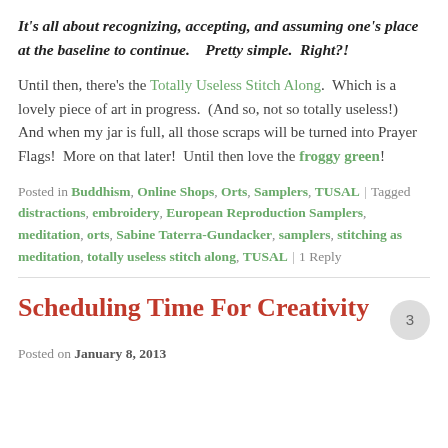It's all about recognizing, accepting, and assuming one's place at the baseline to continue.    Pretty simple.  Right?!
Until then, there's the Totally Useless Stitch Along.  Which is a lovely piece of art in progress.  (And so, not so totally useless!)  And when my jar is full, all those scraps will be turned into Prayer Flags!  More on that later!  Until then love the froggy green!
Posted in Buddhism, Online Shops, Orts, Samplers, TUSAL | Tagged distractions, embroidery, European Reproduction Samplers, meditation, orts, Sabine Taterra-Gundacker, samplers, stitching as meditation, totally useless stitch along, TUSAL | 1 Reply
Scheduling Time For Creativity
Posted on January 8, 2013